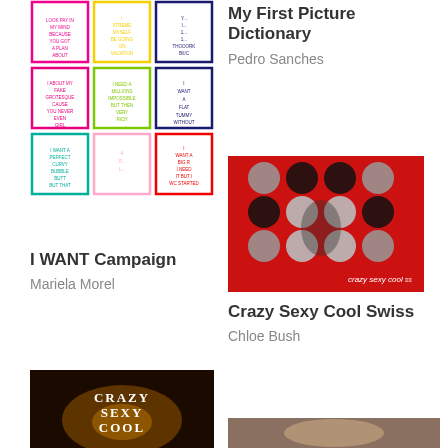[Figure (illustration): Grid of 9 colorful bordered cards with handwritten-style 'I WANT' phrases in various colors (pink, yellow, green, teal, dark blue, red, etc.)]
My First Picture Dictionary
Pedro Sanches
I WANT Campaign
Mariela Morel
[Figure (illustration): Red background with a grid of silver/black circular halftone shapes forming a face, with text 'crazy sexy cool' at the bottom right]
Crazy Sexy Cool Swiss
Chloe Bush
[Figure (photo): Dark image with 'CRAZY SEXY COOL' text visible in the center, with warm amber/gold lighting]
[Figure (photo): Partial bottom-right image, appears to be a close-up portrait photo]